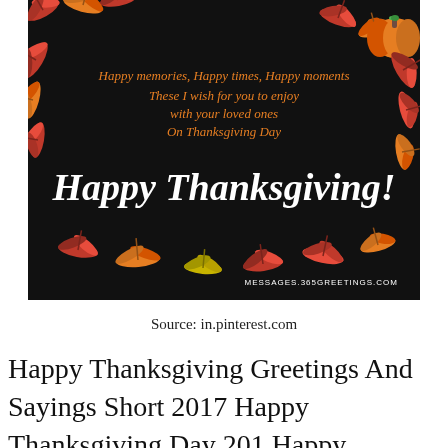[Figure (illustration): A Thanksgiving greeting card image with a dark/black background, decorated with colorful autumn maple leaves (red, orange, yellow) arranged in a wreath/circular pattern. An orange pumpkin sits in the top right corner. Text in the upper portion reads in cursive/italic orange: 'Happy memories, Happy times, Happy moments / These I wish for you to enjoy / with your loved ones / On Thanksgiving Day'. Large white cursive text in the center reads 'Happy Thanksgiving!'. At the bottom right in small white text: 'MESSAGES.365GREETINGS.COM'.]
Source: in.pinterest.com
Happy Thanksgiving Greetings And Sayings Short 2017 Happy Thanksgiving Day 201 Happy Thanksgiving ⓧuotes Thanksgiving